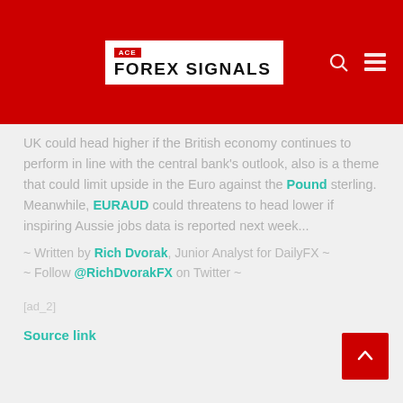ACE FOREX SIGNALS
UK could head higher if the British economy continues to perform in line with the central bank's outlook, also is a theme that could limit upside in the Euro against the Pound sterling. Meanwhile, EURAUD could threatens to head lower if inspiring Aussie jobs data is reported next week...
~ Written by Rich Dvorak, Junior Analyst for DailyFX ~
~ Follow @RichDvorakFX on Twitter ~
[ad_2]
Source link